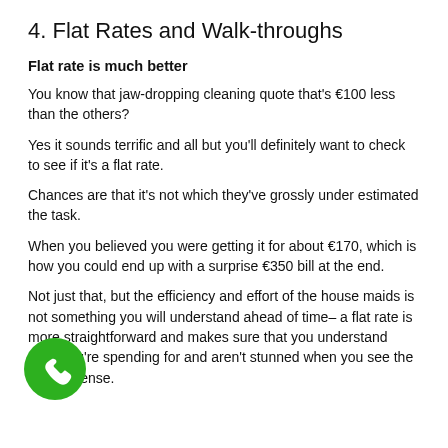4. Flat Rates and Walk-throughs
Flat rate is much better
You know that jaw-dropping cleaning quote that's €100 less than the others?
Yes it sounds terrific and all but you'll definitely want to check to see if it's a flat rate.
Chances are that it's not which they've grossly under estimated the task.
When you believed you were getting it for about €170, which is how you could end up with a surprise €350 bill at the end.
Not just that, but the efficiency and effort of the house maids is not something you will understand ahead of time– a flat rate is more straightforward and makes sure that you understand what you're spending for and aren't stunned when you see the final expense.
[Figure (illustration): Green circular phone call button icon in the bottom left of the page]